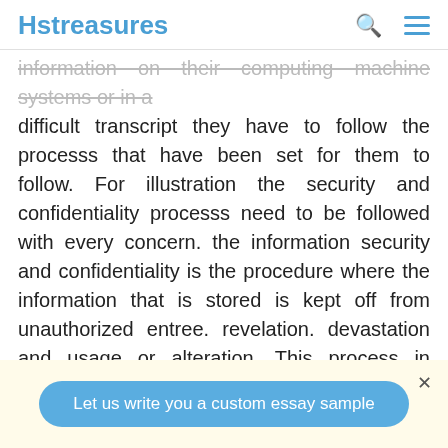Hstreasures
information on their computing machine systems or in a difficult transcript they have to follow the processs that have been set for them to follow. For illustration the security and confidentiality processs need to be followed with every concern. the information security and confidentiality is the procedure where the information that is stored is kept off from unauthorized entree. revelation. devastation and usage or alteration. This process in peculiar is applied for both physical and electronical informations. About every concern shops confidential information about their employees. clients. the company's position. merchandises. studies. fundss and tonss of other of import information. so this is where the
Let us write you a custom essay sample